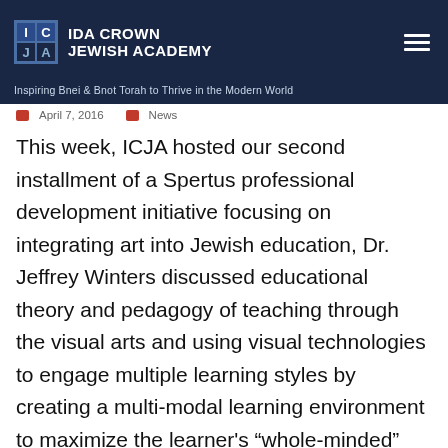IDA CROWN JEWISH ACADEMY
Inspiring Bnei & Bnot Torah to Thrive in the Modern World
April 7, 2016   News
This week, ICJA hosted our second installment of a Spertus professional development initiative focusing on integrating art into Jewish education, Dr. Jeffrey Winters discussed educational theory and pedagogy of teaching through the visual arts and using visual technologies to engage multiple learning styles by creating a multi-modal learning environment to maximize the learner's “whole-minded” potential. The teachers explored ideas for